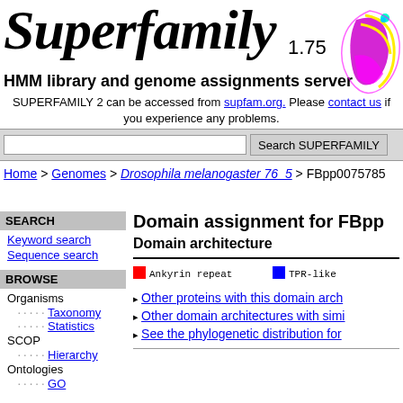Superfamily 1.75
HMM library and genome assignments server
SUPERFAMILY 2 can be accessed from supfam.org. Please contact us if you experience any problems.
Search SUPERFAMILY
Home > Genomes > Drosophila melanogaster 76_5 > FBpp0075785
SEARCH
Keyword search
Sequence search
BROWSE
Organisms
Taxonomy
Statistics
SCOP
Hierarchy
Ontologies
GO
Domain assignment for FBpp
Domain architecture
Ankyrin repeat   TPR-like
Other proteins with this domain arch
Other domain architectures with simi
See the phylogenetic distribution for